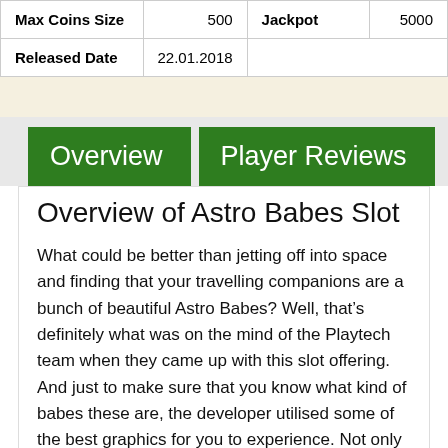|  |  |  |  |
| --- | --- | --- | --- |
| Max Coins Size | 500 | Jackpot | 5000 |
| Released Date | 22.01.2018 |  |  |
Overview | Player Reviews
Overview of Astro Babes Slot
What could be better than jetting off into space and finding that your travelling companions are a bunch of beautiful Astro Babes? Well, that’s definitely what was on the mind of the Playtech team when they came up with this slot offering. And just to make sure that you know what kind of babes these are, the developer utilised some of the best graphics for you to experience. Not only that, but there’s a very sci-fi, out-of-this-world soundtrack playing as you spin the reels too. Therefore, you’ll be one of the most see here as here are discov...